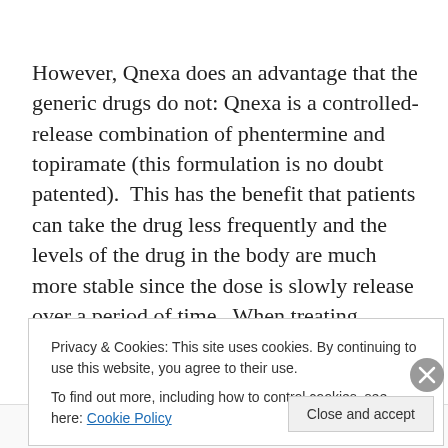However, Qnexa does an advantage that the generic drugs do not: Qnexa is a controlled-release combination of phentermine and topiramate (this formulation is no doubt patented).  This has the benefit that patients can take the drug less frequently and the levels of the drug in the body are much more stable since the dose is slowly release over a period of time.  When treating obesity, where food craving and appetite can vary over the course of a day, this is significant advantage.  However, it remains to be
Privacy & Cookies: This site uses cookies. By continuing to use this website, you agree to their use.
To find out more, including how to control cookies, see here: Cookie Policy
Close and accept
Post on the go.